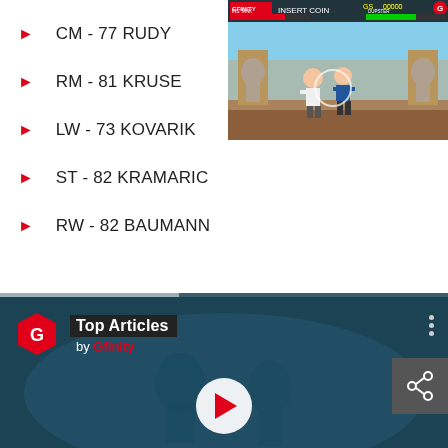[Figure (screenshot): Gfinity TV game screenshot showing fighting game with health bars and score]
CM - 77 RUDY
RM - 81 KRUSE
LW - 73 KOVARIK
ST - 82 KRAMARIC
RW - 82 BAUMANN
[Figure (screenshot): Gfinity Top Articles by Gfinity video player with play button overlay on dark game background]